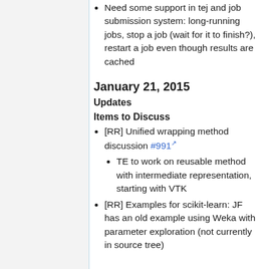Need some support in tej and job submission system: long-running jobs, stop a job (wait for it to finish?), restart a job even though results are cached
January 21, 2015
Updates
Items to Discuss
[RR] Unified wrapping method discussion #991
TE to work on reusable method with intermediate representation, starting with VTK
[RR] Examples for scikit-learn: JF has an old example using Weka with parameter exploration (not currently in source tree)